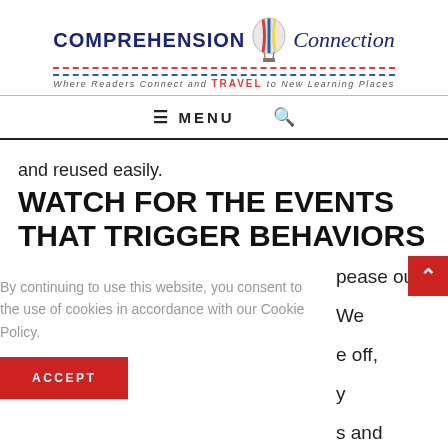[Figure (logo): Comprehension Connection logo with hot air balloon. Text reads 'COMPREHENSION Connection' with tagline 'Where Readers Connect and TRAVEL to New Learning Places']
≡ MENU  🔍
and reused easily.
WATCH FOR THE EVENTS THAT TRIGGER BEHAVIORS AND PLAN AHEAD.
By continuing to use this website, you consent to the use of cookies in accordance with our Cookie Policy.
ACCEPT
pease our We e off, y s and